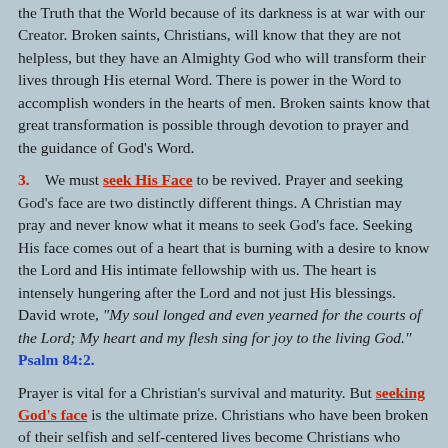the Truth that the World because of its darkness is at war with our Creator. Broken saints, Christians, will know that they are not helpless, but they have an Almighty God who will transform their lives through His eternal Word. There is power in the Word to accomplish wonders in the hearts of men. Broken saints know that great transformation is possible through devotion to prayer and the guidance of God's Word.
3. We must seek His Face to be revived. Prayer and seeking God's face are two distinctly different things. A Christian may pray and never know what it means to seek God's face. Seeking His face comes out of a heart that is burning with a desire to know the Lord and His intimate fellowship with us. The heart is intensely hungering after the Lord and not just His blessings. David wrote, "My soul longed and even yearned for the courts of the Lord; My heart and my flesh sing for joy to the living God." Psalm 84:2.
Prayer is vital for a Christian's survival and maturity. But seeking God's face is the ultimate prize. Christians who have been broken of their selfish and self-centered lives become Christians who passionately desire to pursue this greatest of treasures. They are driven to learn their Savior. This is far better than seeking just to...